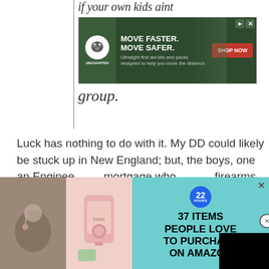if your own kids aint
[Figure (screenshot): Advertisement banner for Uncharted Supply Co: MOVE FASTER. MOVE SAFER. Ultralight first aid kits and packs designed to help you close the distance. SHOP NOW button.]
group.
Luck has nothing to do with it. My DD could likely be stuck up in New England; but, the boys, one an Enginee... mortgage who... firearms and th... business guy &... Scout Sniper are some of th...
[Figure (screenshot): Black video overlay with CLOSE button and X circle button]
[Figure (screenshot): Advertisement: 22 HOURS badge. 37 ITEMS PEOPLE LOVE TO PURCHASE ON AMAZON. Shows jewelry and pink appliance images on teal background.]